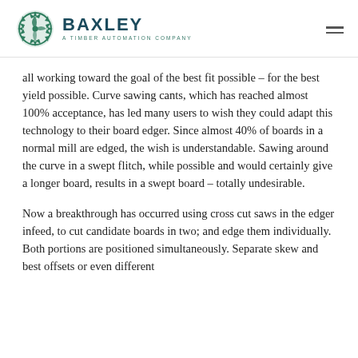BAXLEY — A Timber Automation Company
all working toward the goal of the best fit possible – for the best yield possible. Curve sawing cants, which has reached almost 100% acceptance, has led many users to wish they could adapt this technology to their board edger. Since almost 40% of boards in a normal mill are edged, the wish is understandable. Sawing around the curve in a swept flitch, while possible and would certainly give a longer board, results in a swept board – totally undesirable.
Now a breakthrough has occurred using cross cut saws in the edger infeed, to cut candidate boards in two; and edge them individually. Both portions are positioned simultaneously. Separate skew and best offsets or even different